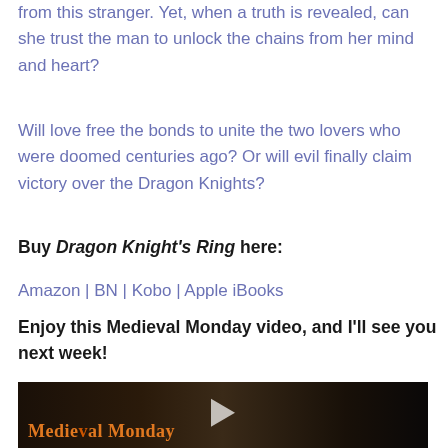from this stranger. Yet, when a truth is revealed, can she trust the man to unlock the chains from her mind and heart?
Will love free the bonds to unite the two lovers who were doomed centuries ago? Or will evil finally claim victory over the Dragon Knights?
Buy Dragon Knight's Ring here:
Amazon | BN | Kobo | Apple iBooks
Enjoy this Medieval Monday video, and I'll see you next week!
[Figure (screenshot): A dark video thumbnail showing 'Medieval Monday' text in orange on a dark background with a play button]